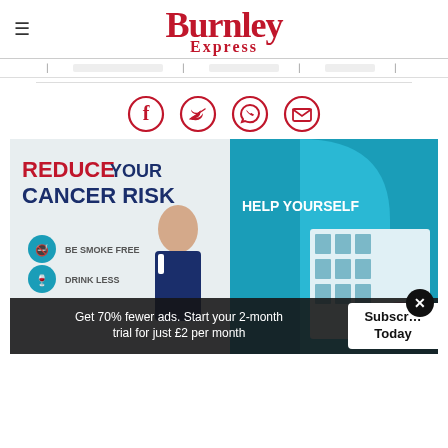Burnley Express
[Figure (infographic): Four social sharing icons in crimson circles: Facebook, Twitter, WhatsApp, Email]
[Figure (photo): A nurse standing in front of a NHS health information stand with signage reading REDUCE YOUR CANCER RISK and HELP YOURSELF, with icons for Be Smoke Free and Drink Less]
Get 70% fewer ads. Start your 2-month trial for just £2 per month
Subscribe Today